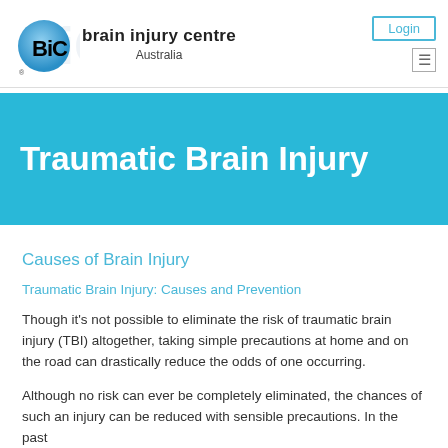[Figure (logo): BIC Brain Injury Centre Australia logo with circular blue gradient icon and text]
Login
Traumatic Brain Injury
Causes of Brain Injury
Traumatic Brain Injury: Causes and Prevention
Though it's not possible to eliminate the risk of traumatic brain injury (TBI) altogether, taking simple precautions at home and on the road can drastically reduce the odds of one occurring.
Although no risk can ever be completely eliminated, the chances of such an injury can be reduced with sensible precautions. In the past